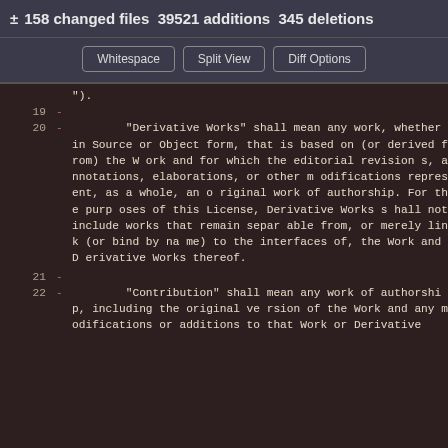± 158 changed files  39521 additions  345 deletions
Whitespace  Split View  Diff Options
19    -
20    -       "Derivative Works" shall mean any work, whether in Source or Object form, that is based on (or derived from) the Work and for which the editorial revisions, annotations, elaborations, or other modifications represent, as a whole, an original work of authorship. For the purposes of this License, Derivative Works shall not include works that remain separable from, or merely link (or bind by name) to the interfaces of, the Work and Derivative Works thereof.
21    -
22    -       "Contribution" shall mean any work of authorship, including the original version of the Work and any modifications or additions to that Work or Derivative